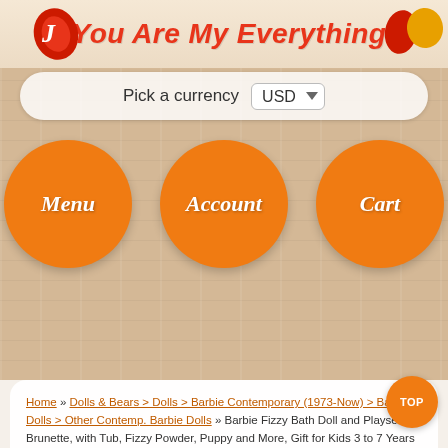You Are My Everything
Pick a currency USD
[Figure (screenshot): Navigation buttons: Menu, Account, Cart — orange circles on wood background]
Home » Dolls & Bears > Dolls > Barbie Contemporary (1973-Now) > Barbie Dolls > Other Contemp. Barbie Dolls » Barbie Fizzy Bath Doll and Playset, Brunette, with Tub, Fizzy Powder, Puppy and More, Gift for Kids 3 to 7 Years Old
Barbie Fizzy Bath Doll and Playset, Brunette, with Tub, Fizzy Powder, Puppy and More, Gift for Kids 3 to 7 Years Old